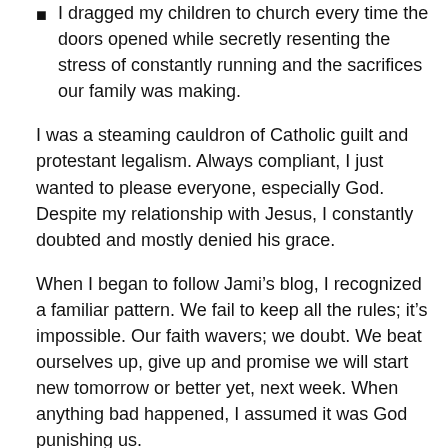I dragged my children to church every time the doors opened while secretly resenting the stress of constantly running and the sacrifices our family was making.
I was a steaming cauldron of Catholic guilt and protestant legalism. Always compliant, I just wanted to please everyone, especially God. Despite my relationship with Jesus, I constantly doubted and mostly denied his grace.
When I began to follow Jami’s blog, I recognized a familiar pattern. We fail to keep all the rules; it’s impossible. Our faith wavers; we doubt. We beat ourselves up, give up and promise we will start new tomorrow or better yet, next week. When anything bad happened, I assumed it was God punishing us.